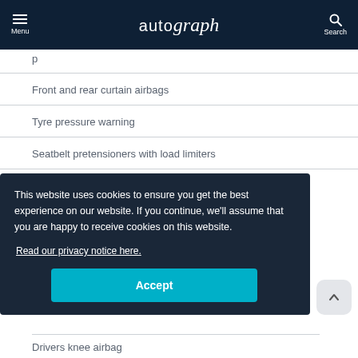autograph — Menu / Search
Front and rear curtain airbags
Tyre pressure warning
Seatbelt pretensioners with load limiters
This website uses cookies to ensure you get the best experience on our website. If you continue, we'll assume that you are happy to receive cookies on this website.
Read our privacy notice here.
Accept
Drivers knee airbag